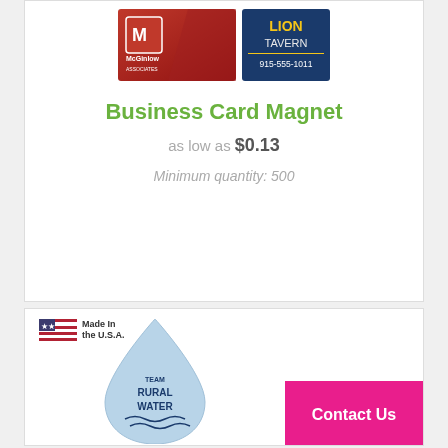[Figure (photo): Two business card magnets - McGinlow Associates (red card) and Lion Tavern (blue card with phone number 915-555-1011)]
Business Card Magnet
as low as $0.13
Minimum quantity: 500
[Figure (photo): Water drop shaped magnet with Team Rural Water logo and Made In the U.S.A. badge]
Contact Us